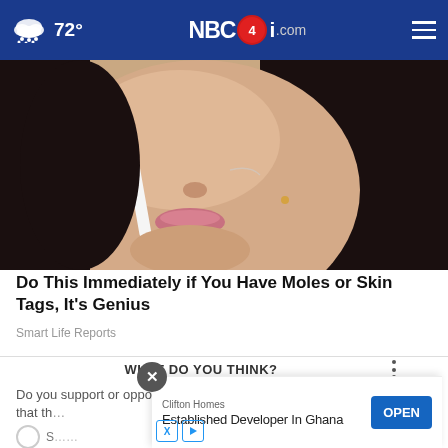72° NBC4i.com
[Figure (photo): Close-up photo of a woman's face and lower jaw area, holding a white strip or applicator near her face, with dark hair visible]
Do This Immediately if You Have Moles or Skin Tags, It's Genius
Smart Life Reports
WHAT DO YOU THINK?
Do you support or oppose President Biden's decision t... that th...
Clifton Homes
Established Developer In Ghana
OPEN